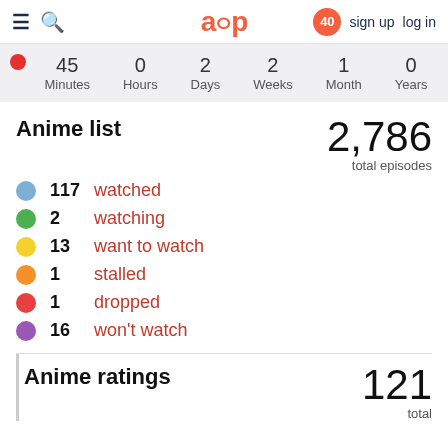≡ 🔍  aup  40  sign up  log in
| Minutes | Hours | Days | Weeks | Month | Years |
| --- | --- | --- | --- | --- | --- |
| 45 | 0 | 2 | 2 | 1 | 0 |
Anime list
2,786 total episodes
● 117  watched
● 2  watching
● 13  want to watch
● 1  stalled
● 1  dropped
● 16  won't watch
Anime ratings
121 total